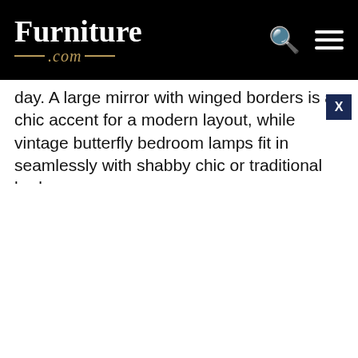Furniture .com
day. A large mirror with winged borders is a chic accent for a modern layout, while vintage butterfly bedroom lamps fit in seamlessly with shabby chic or traditional bedroom